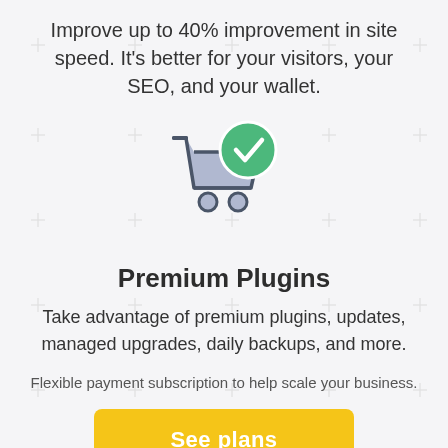Improve up to 40% improvement in site speed. It's better for your visitors, your SEO, and your wallet.
[Figure (illustration): Shopping cart icon with a green checkmark circle overlay, drawn in flat/line art style with blue-gray cart body and green check badge]
Premium Plugins
Take advantage of premium plugins, updates, managed upgrades, daily backups, and more.
Flexible payment subscription to help scale your business.
See plans